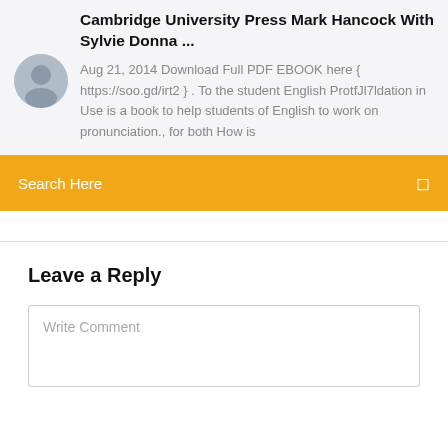Cambridge University Press Mark Hancock With Sylvie Donna ...
Aug 21, 2014 Download Full PDF EBOOK here { https://soo.gd/irt2 } . To the student English ProtfJl7ldation in Use is a book to help students of English to work on pronunciation., for both How is
[Figure (photo): Small circular avatar photo of a man]
Search Here
Leave a Reply
Write Comment